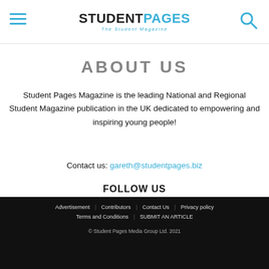STUDENTPAGES — The Student Magazine
About Us
Student Pages Magazine is the leading National and Regional Student Magazine publication in the UK dedicated to empowering and inspiring young people!
Contact us: gareth@studentpages.biz
FOLLOW US
[Figure (illustration): Social media icons: Facebook, Instagram, Twitter in a row]
Advertisement | Contributors | Contact Us | Privacy policy | Terms and Conditions | SUBMIT AN ARTICLE | © Student Pages Media Group Ltd. 2021